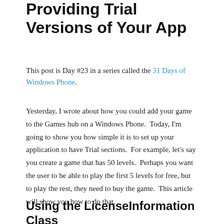Providing Trial Versions of Your App
This post is Day #23 in a series called the 31 Days of Windows Phone.
Yesterday, I wrote about how you could add your game to the Games hub on a Windows Phone.  Today, I'm going to show you how simple it is to set up your application to have Trial sections.  For example, let's say you create a game that has 50 levels.  Perhaps you want the user to be able to play the first 5 levels for free, but to play the rest, they need to buy the game.  This article will show you how to do that.
Using the LicenseInformation Class